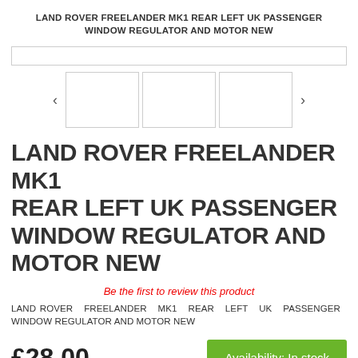LAND ROVER FREELANDER MK1 REAR LEFT UK PASSENGER WINDOW REGULATOR AND MOTOR NEW
[Figure (other): Main product image placeholder bar (empty white rectangle with border)]
[Figure (other): Thumbnail image carousel with left/right arrows and three empty thumbnail boxes]
LAND ROVER FREELANDER MK1 REAR LEFT UK PASSENGER WINDOW REGULATOR AND MOTOR NEW
Be the first to review this product
LAND ROVER FREELANDER MK1 REAR LEFT UK PASSENGER WINDOW REGULATOR AND MOTOR NEW
£28.00
Availability: In stock